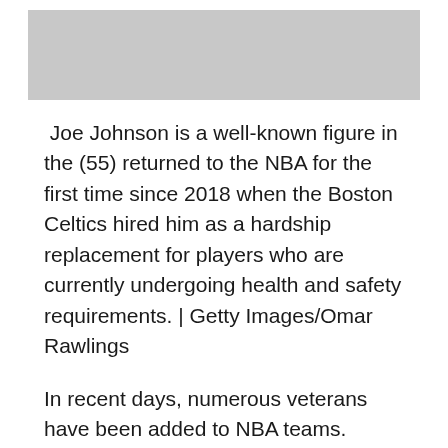[Figure (photo): Gray placeholder image area at the top of the page]
Joe Johnson is a well-known figure in the (55) returned to the NBA for the first time since 2018 when the Boston Celtics hired him as a hardship replacement for players who are currently undergoing health and safety requirements. | Getty Images/Omar Rawlings
In recent days, numerous veterans have been added to NBA teams. Lance Stephenson's last appearance in the league was in the year 2019. On Dec. 22, hours after signing a 10-day hardship contract, he played 23 minutes for the Atlanta